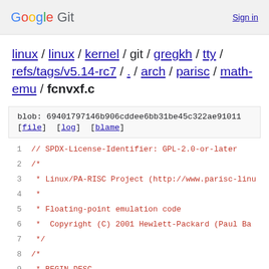Google Git   Sign in
linux / linux / kernel / git / gregkh / tty / refs/tags/v5.14-rc7 / . / arch / parisc / math-emu / fcnvxf.c
blob: 69401797146b906cddee6bb31be45c322ae91011 [file] [log] [blame]
1  // SPDX-License-Identifier: GPL-2.0-or-later
2  /*
3   * Linux/PA-RISC Project (http://www.parisc-linu
4   *
5   * Floating-point emulation code
6   *  Copyright (C) 2001 Hewlett-Packard (Paul Ba
7   */
8  /*
9   * BEGIN_DESC
10  *